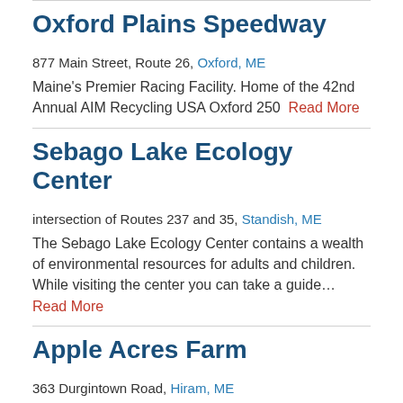Oxford Plains Speedway
877 Main Street, Route 26, Oxford, ME
Maine's Premier Racing Facility. Home of the 42nd Annual AIM Recycling USA Oxford 250  Read More
Sebago Lake Ecology Center
intersection of Routes 237 and 35, Standish, ME
The Sebago Lake Ecology Center contains a wealth of environmental resources for adults and children. While visiting the center you can take a guide… Read More
Apple Acres Farm
363 Durgintown Road, Hiram, ME
Apple Acres Farm has been in the Johnson family since 1949. Leighton (aka Panny) Johnson bought the farm